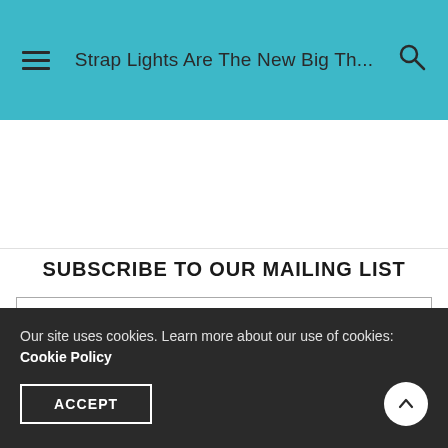Strap Lights Are The New Big Th...
SUBSCRIBE TO OUR MAILING LIST
email address
SUBSCRIBE
Our site uses cookies. Learn more about our use of cookies: Cookie Policy
ACCEPT